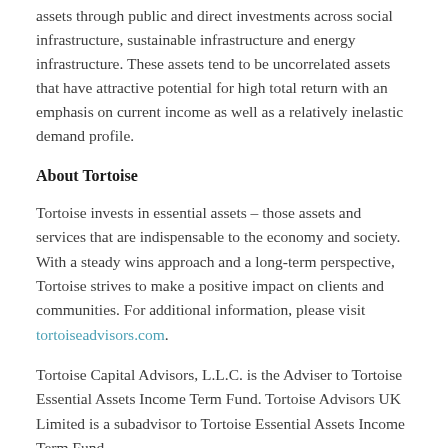assets through public and direct investments across social infrastructure, sustainable infrastructure and energy infrastructure. These assets tend to be uncorrelated assets that have attractive potential for high total return with an emphasis on current income as well as a relatively inelastic demand profile.
About Tortoise
Tortoise invests in essential assets – those assets and services that are indispensable to the economy and society. With a steady wins approach and a long-term perspective, Tortoise strives to make a positive impact on clients and communities. For additional information, please visit tortoiseadvisors.com.
Tortoise Capital Advisors, L.L.C. is the Adviser to Tortoise Essential Assets Income Term Fund. Tortoise Advisors UK Limited is a subadvisor to Tortoise Essential Assets Income Term Fund.